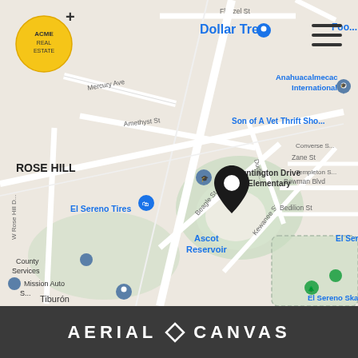[Figure (map): Google Maps view of El Sereno / Rose Hill neighborhood in Los Angeles showing streets, landmarks including Dollar Tree, Anahuacalmecac International, Huntington Drive Elementary, El Sereno Tires, Ascot Reservoir, El Sereno Skatepark, Evil Cooks, Mission Auto Services, Tiburón, County Services, Son of A Vet Thrift Shop. A black location pin is placed near Kewanee St / Dudley area. Streets visible include Mercury Ave, Amethyst St, Beagle St, Kewanee St, Bowman Blvd, Zane St, Bedilion St, Florizel St, W Rose Hill Dr.]
[Figure (logo): ACME Real Estate circular yellow logo in top-left corner]
AERIAL CANVAS